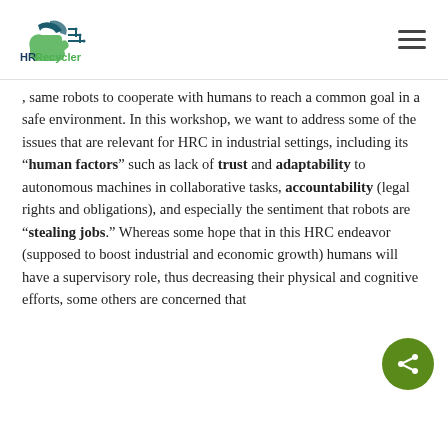HR·Recycler
same robots to cooperate with humans to reach a common goal in a safe environment. In this workshop, we want to address some of the issues that are relevant for HRC in industrial settings, including its “human factors” such as lack of trust and adaptability to autonomous machines in collaborative tasks, accountability (legal rights and obligations), and especially the sentiment that robots are “stealing jobs.” Whereas some hope that in this HRC endeavor (supposed to boost industrial and economic growth) humans will have a supervisory role, thus decreasing their physical and cognitive efforts, some others are concerned that